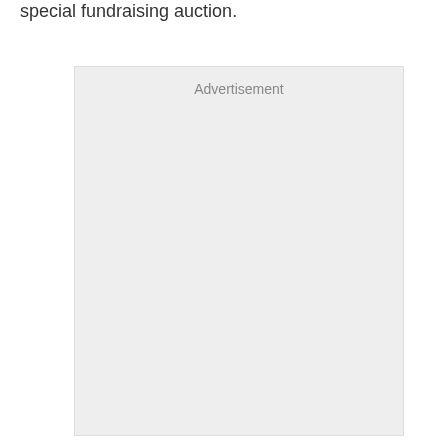special fundraising auction.
[Figure (other): Advertisement placeholder box with light gray background and the label 'Advertisement' at the top center.]